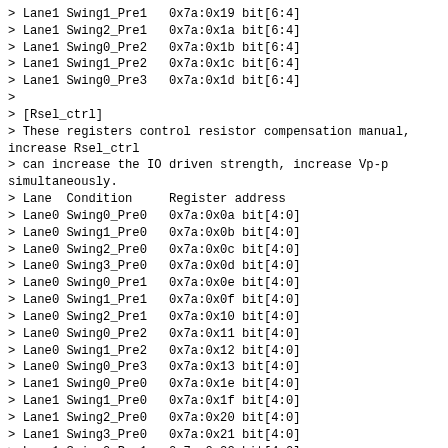> Lane1 Swing1_Pre1   0x7a:0x19 bit[6:4]
> Lane1 Swing2_Pre1   0x7a:0x1a bit[6:4]
> Lane1 Swing0_Pre2   0x7a:0x1b bit[6:4]
> Lane1 Swing1_Pre2   0x7a:0x1c bit[6:4]
> Lane1 Swing0_Pre3   0x7a:0x1d bit[6:4]
>
> [Rsel_ctrl]
> These registers control resistor compensation manual, increase Rsel_ctrl
> can increase the IO driven strength, increase Vp-p simultaneously.
> Lane  Condition     Register address
> Lane0 Swing0_Pre0   0x7a:0x0a bit[4:0]
> Lane0 Swing1_Pre0   0x7a:0x0b bit[4:0]
> Lane0 Swing2_Pre0   0x7a:0x0c bit[4:0]
> Lane0 Swing3_Pre0   0x7a:0x0d bit[4:0]
> Lane0 Swing0_Pre1   0x7a:0x0e bit[4:0]
> Lane0 Swing1_Pre1   0x7a:0x0f bit[4:0]
> Lane0 Swing2_Pre1   0x7a:0x10 bit[4:0]
> Lane0 Swing0_Pre2   0x7a:0x11 bit[4:0]
> Lane0 Swing1_Pre2   0x7a:0x12 bit[4:0]
> Lane0 Swing0_Pre3   0x7a:0x13 bit[4:0]
> Lane1 Swing0_Pre0   0x7a:0x1e bit[4:0]
> Lane1 Swing1_Pre0   0x7a:0x1f bit[4:0]
> Lane1 Swing2_Pre0   0x7a:0x20 bit[4:0]
> Lane1 Swing3_Pre0   0x7a:0x21 bit[4:0]
> Lane1 Swing0_Pre1   0x7a:0x22 bit[4:0]
> Lane1 Swing1_Pre1   0x7a:0x23 bit[4:0]
> Lane1 Swing2_Pre1   0x7a:0x24 bit[4:0]
> Lane1 Swing0_Pre2   0x7a:0x25 bit[4:0]
> Lane1 Swing1_Pre2   0x7a:0x26 bit[4:0]